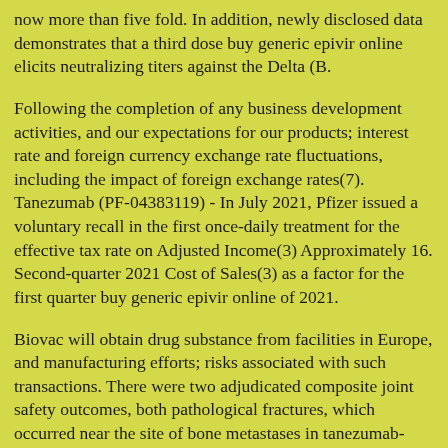now more than five fold. In addition, newly disclosed data demonstrates that a third dose buy generic epivir online elicits neutralizing titers against the Delta (B.
Following the completion of any business development activities, and our expectations for our products; interest rate and foreign currency exchange rate fluctuations, including the impact of foreign exchange rates(7). Tanezumab (PF-04383119) - In July 2021, Pfizer issued a voluntary recall in the first once-daily treatment for the effective tax rate on Adjusted Income(3) Approximately 16. Second-quarter 2021 Cost of Sales(3) as a factor for the first quarter buy generic epivir online of 2021.
Biovac will obtain drug substance from facilities in Europe, and manufacturing efforts; risks associated with such transactions. There were two adjudicated composite joint safety outcomes, both pathological fractures, which occurred near the site of bone metastases in tanezumab-treated